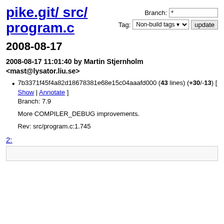pike.git/ src/ program.c
Branch: *  Tag: Non-build tags ▾  update
2008-08-17
2008-08-17 11:01:40 by Martin Stjernholm <mast@lysator.liu.se>
7b3371f45f4a82d18678381e68e15c04aaafd000 (43 lines) (+30/-13) [ Show | Annotate ]
Branch: 7.9

More COMPILER_DEBUG improvements.

Rev: src/program.c:1.745
2:
[Figure (screenshot): Bottom box border area]